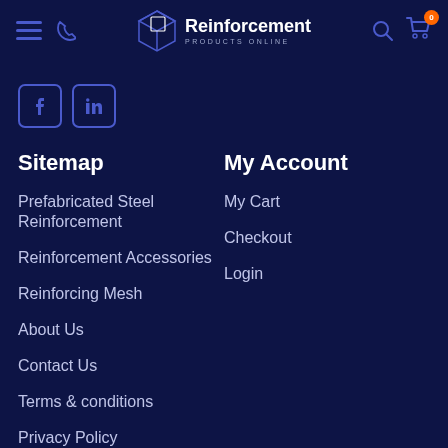Reinforcement Products Online — navigation bar with menu, phone, logo, search, cart (0)
[Figure (logo): Facebook and LinkedIn social media icons]
Sitemap
Prefabricated Steel Reinforcement
Reinforcement Accessories
Reinforcing Mesh
About Us
Contact Us
Terms & conditions
Privacy Policy
My Account
My Cart
Checkout
Login